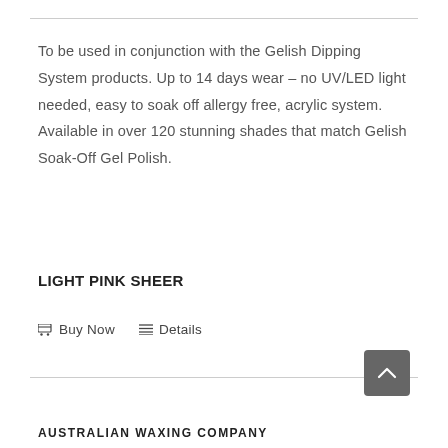To be used in conjunction with the Gelish Dipping System products. Up to 14 days wear – no UV/LED light needed, easy to soak off allergy free, acrylic system. Available in over 120 stunning shades that match Gelish Soak-Off Gel Polish.
LIGHT PINK SHEER
Buy Now   Details
AUSTRALIAN WAXING COMPANY